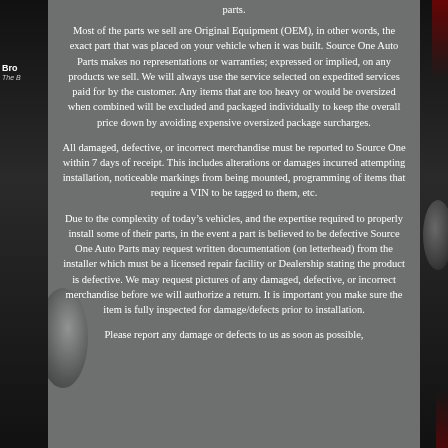parts.
Most of the parts we sell are Original Equipment (OEM), in other words, the exact part that was placed on your vehicle when it was built. Source One Auto Parts makes no representations or warranties; expressed or implied, on any products we sell. We will always use the service selected on expedited services paid for by the customer. Any items that are too heavy or would be oversized when combined will be excluded and packaged individually to keep the overall price down by avoiding expensive oversized package surcharges.
All damaged, defective, or incorrect merchandise must be reported to Source One within 7 days of receipt. This includes alterations or damages incurred attempting installation, noticeable markings from being mounted, programming of items that require a VIN to be tagged to them, etc.
Due to the complexity of today’s vehicles, and the expertise required to properly install some of their parts, in the event a part is believed to be defective Source One Auto Parts may request written documentation (on letterhead) from the installer which must be a licensed repair facility or Dealership stating the product is defective. We may request pictures of any damaged, defective, or incorrect merchandise before we will authorize a return. It is important you make sure the item is fully inspected for damage/defects prior to installation.
Please report any damage or defects to us as soon as possible,